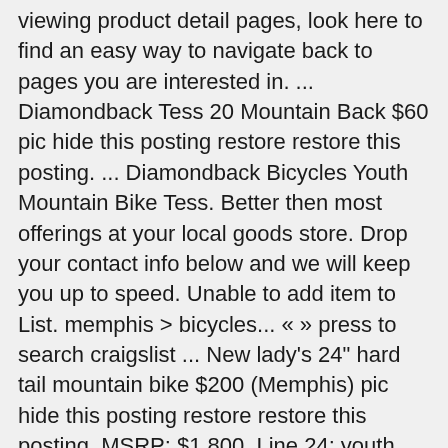viewing product detail pages, look here to find an easy way to navigate back to pages you are interested in. ... Diamondback Tess 20 Mountain Back $60 pic hide this posting restore restore this posting. ... Diamondback Bicycles Youth Mountain Bike Tess. Better then most offerings at your local goods store. Drop your contact info below and we will keep you up to speed. Unable to add item to List. memphis > bicycles... « » press to search craigslist ... New lady's 24" hard tail mountain bike $200 (Memphis) pic hide this posting restore restore this posting. MSRP: $1,800, Line 24: youth mountain biking is taking off, and the Line 24 is a bike they can grow with. Compré la bici para mi hijo de 7 años y la recomiendo. Diamondback offers a variety of bike types – from BMX to Triathlon bikes; $150 to $8k bikes; and from comfortable women's bikes to race-oriented men's road bikes. greenville > bicycles... « » press to search craigslist ... Diamondback Tess 24 Speed Youth Mountain Bike $150